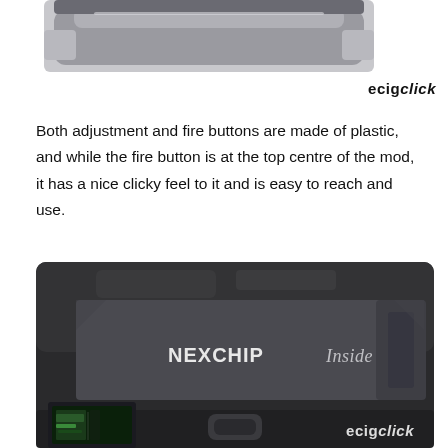[Figure (photo): Close-up of top portion of a vape mod device showing gray plastic casing with rounded corners]
ecigclick
Both adjustment and fire buttons are made of plastic, and while the fire button is at the top centre of the mod, it has a nice clicky feel to it and is easy to reach and use.
[Figure (photo): Close-up of a dark gray/black vape mod showing 'NEXCHIP Inside' text engraved on the body, with a small display screen visible at the bottom left showing vaping stats]
ecigclick